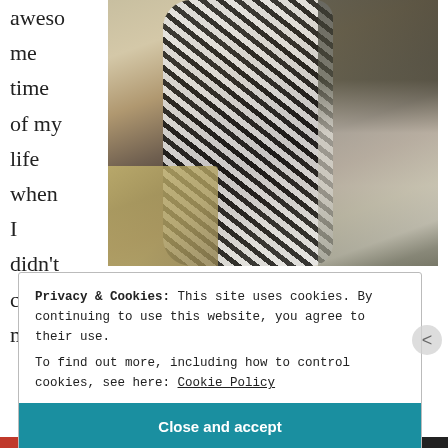awesome time of my life when I didn't care much
[Figure (photo): Person in zebra-print dress taking a mirror selfie in a bedroom with furniture and electronics in background]
Privacy & Cookies: This site uses cookies. By continuing to use this website, you agree to their use.
To find out more, including how to control cookies, see here: Cookie Policy
Close and accept